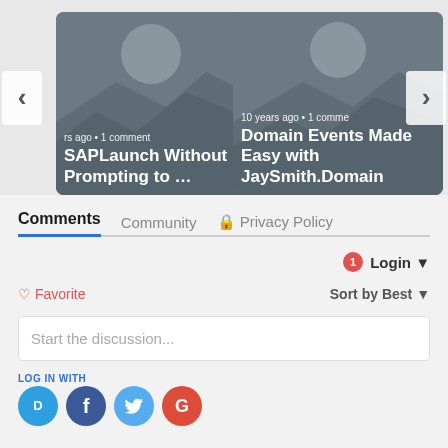[Figure (screenshot): Two article cards in a carousel. Left card shows 'SAPLaunch Without Prompting to …' with metadata 'rs ago • 1 comment'. Right card shows 'Domain Events Made Easy with JaySmith.Domain' with metadata '10 years ago • 1 comment'. Navigation arrows on both sides.]
Comments  Community  🔒 Privacy Policy
1  Login ▾
♡ Favorite
Sort by Best ▾
Start the discussion...
LOG IN WITH
[Figure (illustration): Four social login icons: Disqus (D), Facebook (f), Twitter bird, Google (G)]